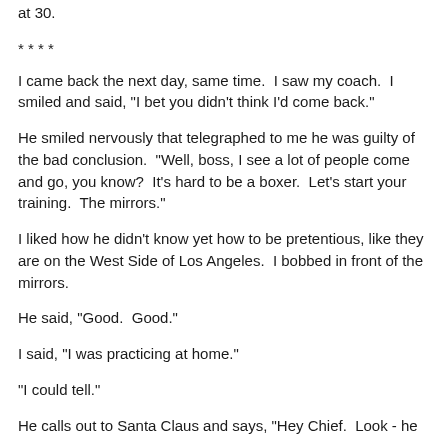at 30.
* * * *
I came back the next day, same time.  I saw my coach.  I smiled and said, "I bet you didn't think I'd come back."
He smiled nervously that telegraphed to me he was guilty of the bad conclusion.  "Well, boss, I see a lot of people come and go, you know?  It's hard to be a boxer.  Let's start your training.  The mirrors."
I liked how he didn't know yet how to be pretentious, like they are on the West Side of Los Angeles.  I bobbed in front of the mirrors.
He said, "Good.  Good."
I said, "I was practicing at home."
"I could tell."
He calls out to Santa Claus and says, "Hey Chief.  Look - he